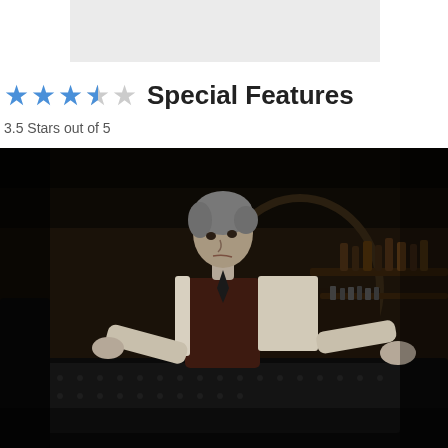[Figure (photo): Gray/light placeholder image area at top center of the page]
★★★½☆ Special Features
3.5 Stars out of 5
[Figure (photo): Dark cinematic movie still showing a man with gray hair wearing a white shirt and dark vest, leaning over what appears to be a large dark object, with a bar/shelf visible in the background]